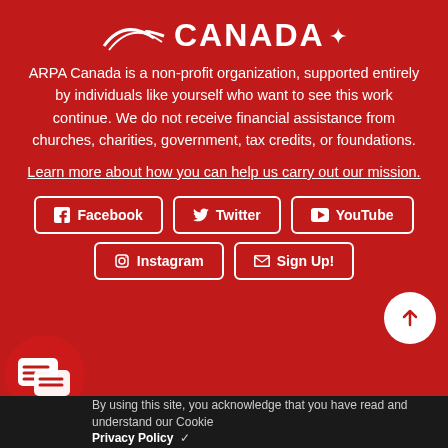[Figure (logo): ARPA Canada logo with swoosh and maple leaf]
ARPA Canada is a non-profit organization, supported entirely by individuals like yourself who want to see this work continue. We do not receive financial assistance from churches, charities, government, tax credits, or foundations.
Learn more about how you can help us carry out our mission.
Facebook  Twitter  YouTube  Instagram  Sign Up!
[Figure (illustration): Chat widget icon with speech bubbles on red circle background]
By using this site, you acknowledge that you have read and understand our Cookie Privacy Policy ✓